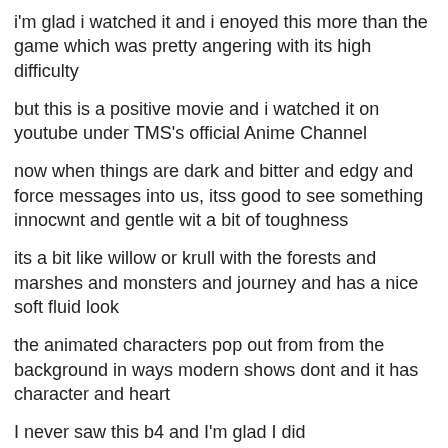i'm glad i watched it and i enoyed this more than the game which was pretty angering with its high difficulty
but this is a positive movie and i watched it on youtube under TMS's official Anime Channel
now when things are dark and bitter and edgy and force messages into us, itss good to see something innocwnt and gentle wit a bit of toughness
its a bit like willow or krull with the forests and marshes and monsters and journey and has a nice soft fluid look
the animated characters pop out from from the background in ways modern shows dont and it has character and heart
I never saw this b4 and I'm glad I did
for Little Nemo: Adventures in Slumberland 2 i want the son of the nightmare king who was sealed away for being too malcontennt to have been freed from the destruction of the nightmare kingdom and wants evenge for his peoples ruin. he takes over slumberland and seals away the peole. flip